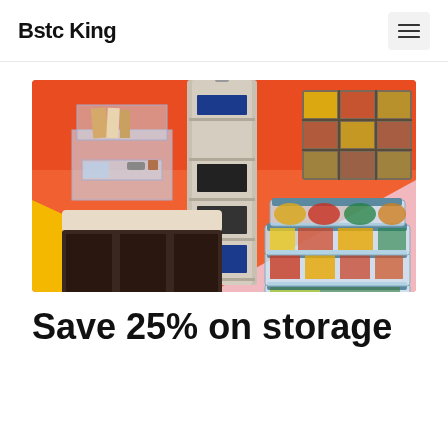Bstc King
[Figure (photo): Promotional banner image showing storage products on a colorful orange, yellow, and pink background. Items include a clear acrylic desk organizer, a hanging fabric closet shelf organizer, a grid cube storage shelf, a dark wooden bench with cubbies, and stacked food storage containers with visible food items.]
Save 25% on storage